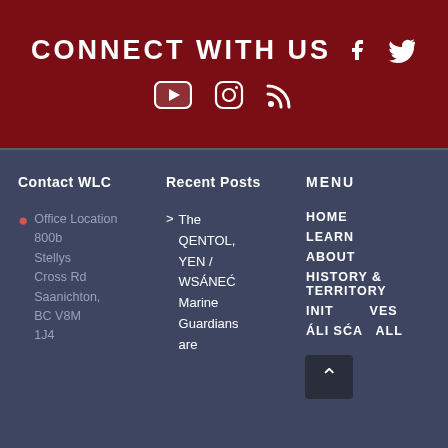CONNECT WITH US
[Figure (infographic): Social media icons: Facebook, Twitter, YouTube, Instagram, RSS feed]
Contact WLC
Office Location 800b Stellys Cross Rd Saanichton, BC V8M 1J4
Recent Posts
The QENTOL, YEN / WSÁNEĆ Marine Guardians are
MENU
HOME
LEARN
ABOUT
HISTORY & TERRITORY
INITIATIVES
ÁLI SĆA ALL